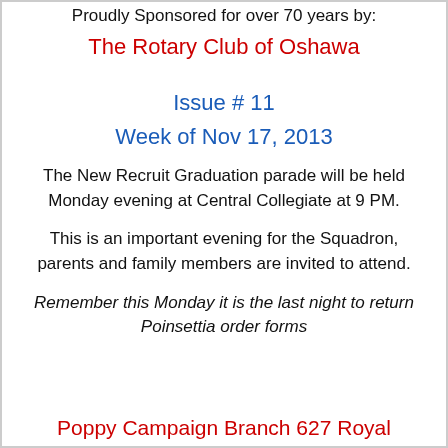Proudly Sponsored for over 70 years by:
The Rotary Club of Oshawa
Issue # 11
Week of Nov 17, 2013
The New Recruit Graduation parade will be held Monday evening at Central Collegiate at 9 PM.
This is an important evening for the Squadron, parents and family members are invited to attend.
Remember this Monday it is the last night to return Poinsettia order forms
Poppy Campaign Branch 627 Royal